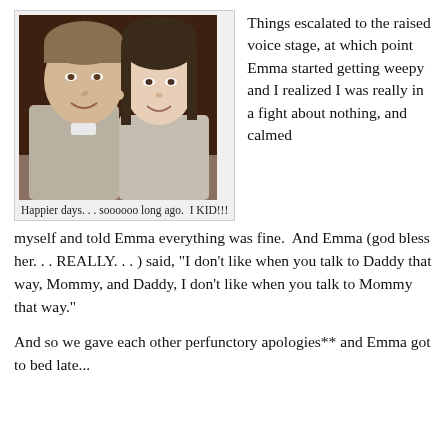[Figure (photo): A smiling couple posing together for a photo. A man with short hair on the left and a woman with long dark hair on the right, her arms around him.]
Happier days. . . soooooo long ago.  I KID!!!
Things escalated to the raised voice stage, at which point Emma started getting weepy and I realized I was really in a fight about nothing, and calmed myself and told Emma everything was fine.  And Emma (god bless her. . . REALLY. . . ) said, "I don't like when you talk to Daddy that way, Mommy, and Daddy, I don't like when you talk to Mommy that way."
And so we gave each other perfunctory apologies** and Emma...